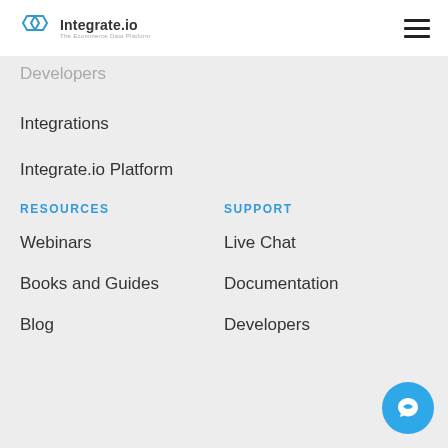Integrate.io — The Ecommerce Data Platform (logo + hamburger menu)
Developers
Integrations
Integrate.io Platform
RESOURCES
SUPPORT
Webinars
Live Chat
Books and Guides
Documentation
Blog
Developers
[Figure (illustration): Blue circular chat/support button in bottom-right corner]